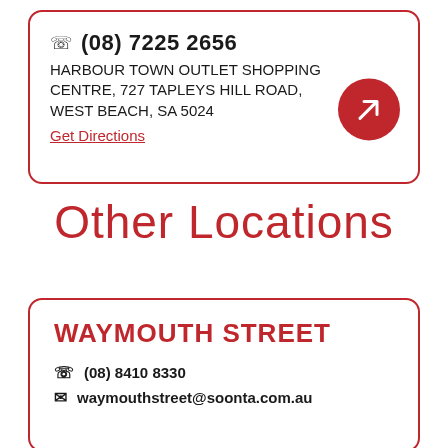(08) 7225 2656
HARBOUR TOWN OUTLET SHOPPING CENTRE, 727 TAPLEYS HILL ROAD, WEST BEACH, SA 5024
Get Directions
Other Locations
WAYMOUTH STREET
(08) 8410 8330
waymouthstreet@soonta.com.au